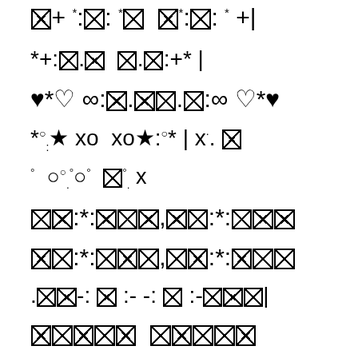[box]+*:[box]:*[box] [box]*:[box]:*+|
*+:[box].[box] [box].[box]:+* |
♥*♡ ∞:[box].[box][box].[box]:∞ ♡*♥
*°:★ xo xo★:°* | x°. [box]
° ○ ○°.°○° [box].°x
[box][box]:*:[box][box][box],[box][box]:*:[box][box][box]
[box][box]:*:[box][box][box],[box][box]:*:[box][box][box]
.[box][box]-: [box] :- -: [box] :-[box][box][box]|
[box][box][box][box][box] [box][box][box][box][box]